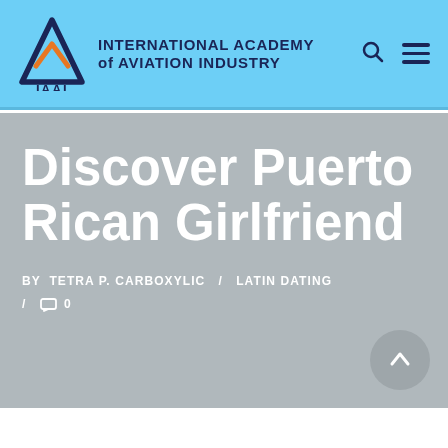[Figure (logo): IAAI logo — triangle with A shape and orange chevron, text: INTERNATIONAL ACADEMY of AVIATION INDUSTRY]
Discover Puerto Rican Girlfriend
BY TETRA P. CARBOXYLIC / LATIN DATING / 0